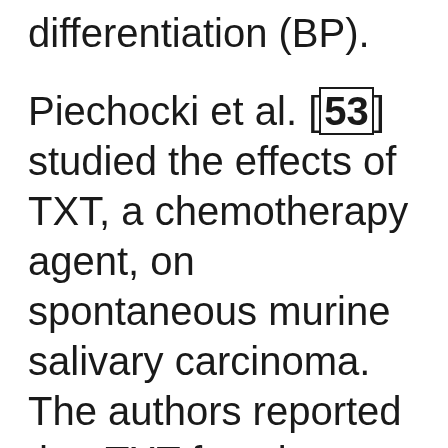differentiation (BP).
Piechocki et al. [53] studied the effects of TXT, a chemotherapy agent, on spontaneous murine salivary carcinoma. The authors reported that TXT functions as an antitumor agent through several mechanisms, including cell cycle arrest at G2/M and